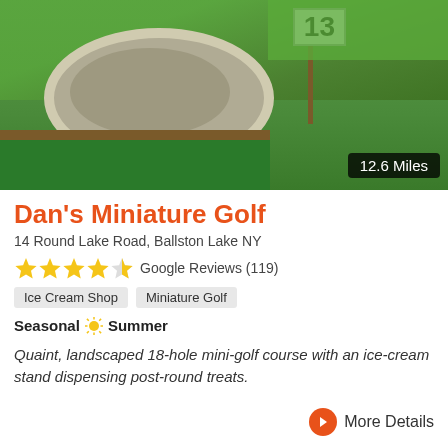[Figure (photo): Outdoor miniature golf course showing hole 13 with a sand trap area, green putting surface, wooden border, and a pole with number 13 sign. Distance badge shows 12.6 Miles.]
Dan's Miniature Golf
14 Round Lake Road, Ballston Lake NY
★★★★☆ Google Reviews (119)
Ice Cream Shop
Miniature Golf
Seasonal ☀ Summer
Quaint, landscaped 18-hole mini-golf course with an ice-cream stand dispensing post-round treats.
More Details